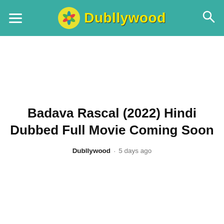Dubllywood
Badava Rascal (2022) Hindi Dubbed Full Movie Coming Soon
Dubllywood · 5 days ago